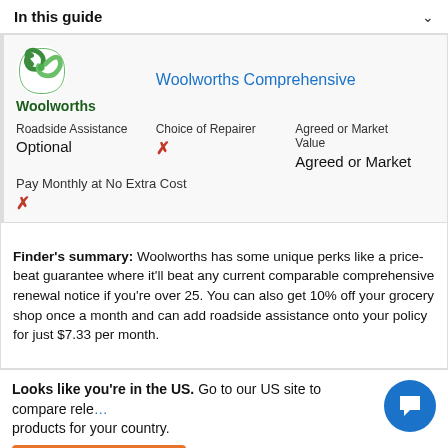In this guide
[Figure (logo): Woolworths logo — green swirl circles with 'Woolworths' text below in dark green]
Woolworths Comprehensive
| Roadside Assistance | Choice of Repairer | Agreed or Market Value |
| --- | --- | --- |
| Optional | ✗ | Agreed or Market |
Pay Monthly at No Extra Cost
✗
Finder's summary: Woolworths has some unique perks like a price-beat guarantee where it'll beat any current comparable comprehensive renewal notice if you're over 25. You can also get 10% off your grocery shop once a month and can add roadside assistance onto your policy for just $7.33 per month.
Looks like you're in the US. Go to our US site to compare relevant products for your country.
Go to Finder US
No, stay on this page